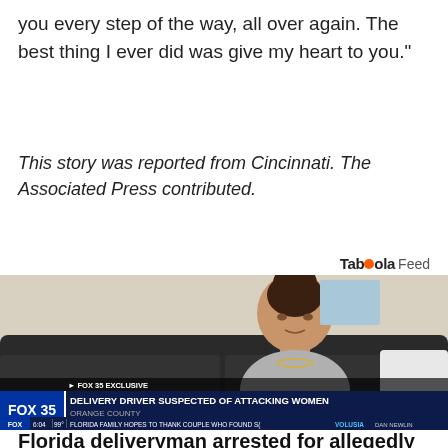you every step of the way, all over again. The best thing I ever did was give my heart to you."
This story was reported from Cincinnati. The Associated Press contributed.
Taboola Feed
[Figure (screenshot): FOX 35 Exclusive news broadcast screenshot showing a young woman sitting on a dark sofa. Lower-third chyron reads: DELIVERY DRIVER SUSPECTED OF ATTACKING WOMEN / ORANGE COUNTY. Ticker at bottom shows: FOX FLORIDA FAMILY HOPES TO THANK COUPLE WHO FOUND S[C] VOLUSIA | DAN NEWLIN. Timestamp 6:04 99.]
Florida deliveryman arrested for allegedly